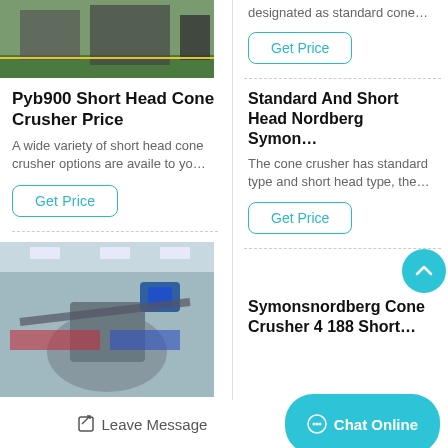[Figure (photo): Industrial cone crusher machine in a factory, top image (partially visible)]
designated as standard cone…
Get Price
Pyb900 Short Head Cone Crusher Price
A wide variety of short head cone crusher options are availe to yo…
Get Price
Standard And Short Head Nordberg Symon…
The cone crusher has standard type and short head type, the…
Get Price
[Figure (photo): Industrial cone crusher machine in a factory warehouse, bottom image]
Symonsnordberg Cone Crusher 4 188 Short…
Leave Message
Chat Online